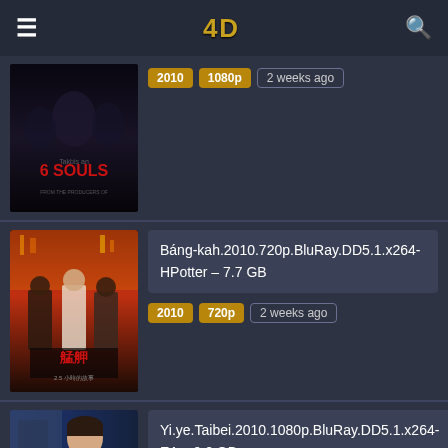4D
[Figure (photo): Movie poster for '6 Souls' horror film, dark background with shadowy figures]
2010  1080p  2 weeks ago
[Figure (photo): Movie poster for 'Báng-kah' 2010, colorful Taiwanese city scene with young people]
Báng-kah.2010.720p.BluRay.DD5.1.x264-HPotter – 7.7 GB
2010  720p  2 weeks ago
[Figure (photo): Movie poster for Yi.ye.Taibei 2010, person with short hair]
Yi.ye.Taibei.2010.1080p.BluRay.DD5.1.x264-EA – 9.0 GB